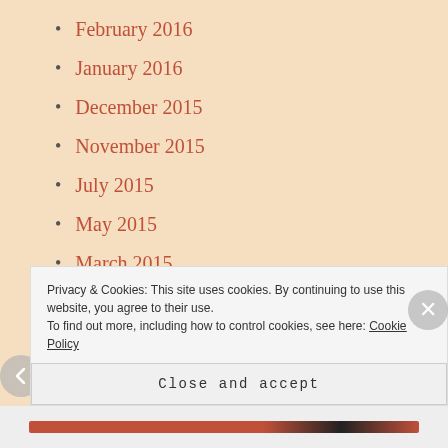February 2016
January 2016
December 2015
November 2015
July 2015
May 2015
March 2015
February 2015
January 2015
December 2014
November 2014
October 2014
Privacy & Cookies: This site uses cookies. By continuing to use this website, you agree to their use.
To find out more, including how to control cookies, see here: Cookie Policy
Close and accept